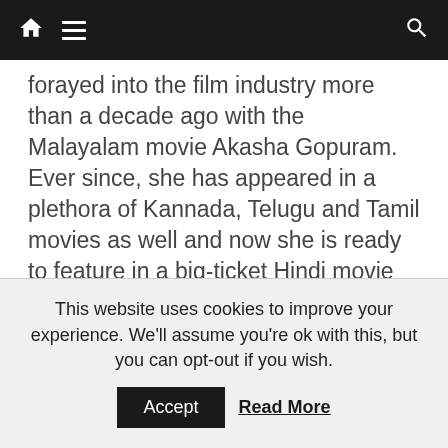Navigation bar with home, menu, and search icons
forayed into the film industry more than a decade ago with the Malayalam movie Akasha Gopuram. Ever since, she has appeared in a plethora of Kannada, Telugu and Tamil movies as well and now she is ready to feature in a big-ticket Hindi movie like Mission Mangal.
This website uses cookies to improve your experience. We'll assume you're ok with this, but you can opt-out if you wish. Accept  Read More